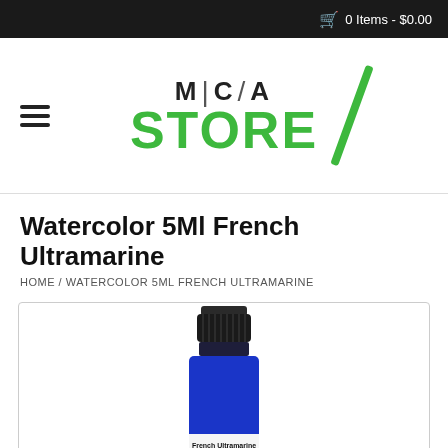0 Items - $0.00
[Figure (logo): MICA STORE logo with green slash mark]
Watercolor 5Ml French Ultramarine
HOME / WATERCOLOR 5ML FRENCH ULTRAMARINE
[Figure (photo): Small blue paint bottle labeled French Ultramarine / Outrement Francais]